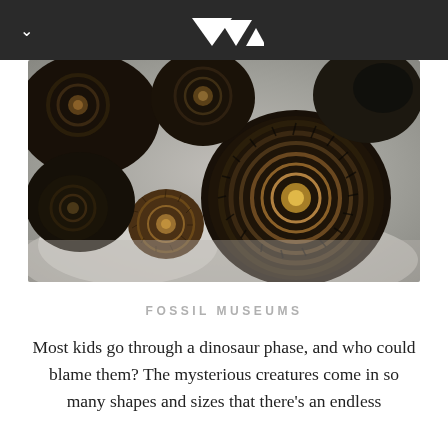[Figure (photo): Close-up photograph of multiple ammonite fossils, dark/black in color with spiral ribbed patterns, arranged together on a white/light background. One large spiral ammonite dominates the right center, with smaller ammonites around it.]
FOSSIL MUSEUMS
Most kids go through a dinosaur phase, and who could blame them? The mysterious creatures come in so many shapes and sizes that there's an endless